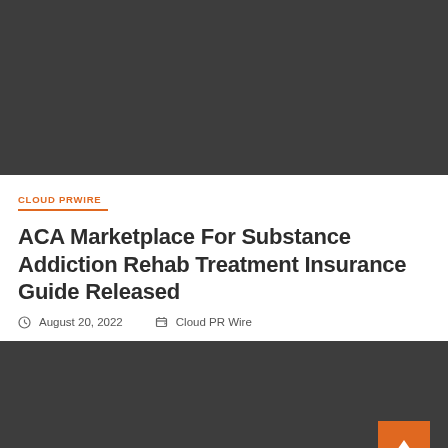[Figure (photo): Dark gray/charcoal image placeholder at top of page]
CLOUD PRWIRE
ACA Marketplace For Substance Addiction Rehab Treatment Insurance Guide Released
August 20, 2022   Cloud PR Wire
[Figure (photo): Dark gray/charcoal image placeholder at bottom of page with orange back-to-top button]